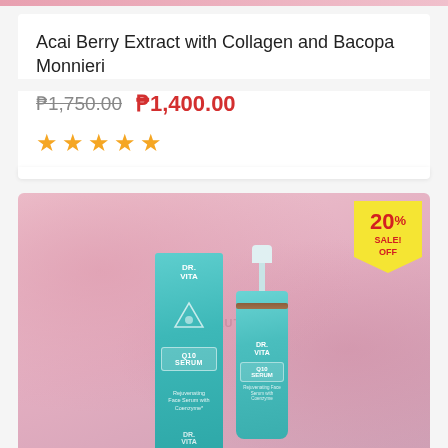Acai Berry Extract with Collagen and Bacopa Monnieri
₱1,750.00  ₱1,400.00
★★★★★
[Figure (photo): Dr. Vita Q10 Serum product photo showing a teal product box and pump bottle with 20% SALE OFF badge on a pink rose background]